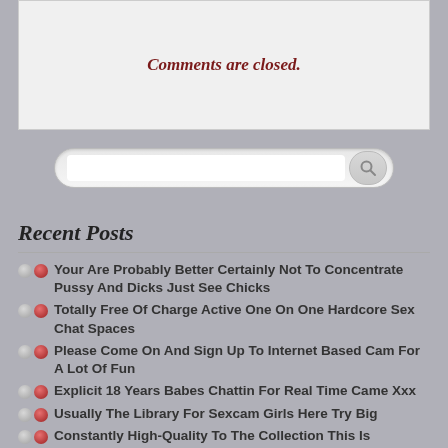Comments are closed.
[Figure (other): Search bar with magnifying glass icon]
Recent Posts
Your Are Probably Better Certainly Not To Concentrate Pussy And Dicks Just See Chicks
Totally Free Of Charge Active One On One Hardcore Sex Chat Spaces
Please Come On And Sign Up To Internet Based Cam For A Lot Of Fun
Explicit 18 Years Babes Chattin For Real Time Came Xxx
Usually The Library For Sexcam Girls Here Try Big
Constantly High-Quality To The Collection This Is Certainly Impressive!!
It's A Lot More Versus 30 Pages Each Minute In A Chat That Is Exclusively A Cost Of Girls...